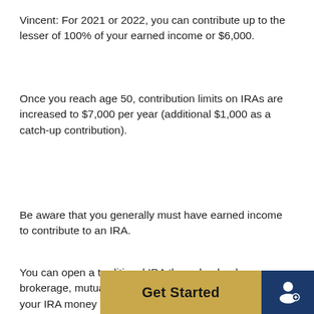Vincent: For 2021 or 2022, you can contribute up to the lesser of 100% of your earned income or $6,000.
Once you reach age 50, contribution limits on IRAs are increased to $7,000 per year (additional $1,000 as a catch-up contribution).
Be aware that you generally must have earned income to contribute to an IRA.
You can open a traditional IRA through a bank, brokerage, mutual fund or insurance company and invest your IRA money in stocks, bonds, mutual funds,